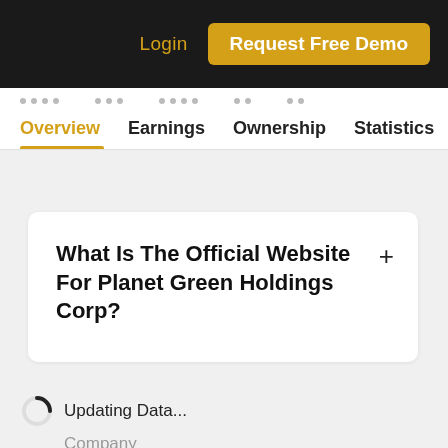Login | Request Free Demo
Overview | Earnings | Ownership | Statistics
What Is The Official Website For Planet Green Holdings Corp?
Updating Data...
Company
About